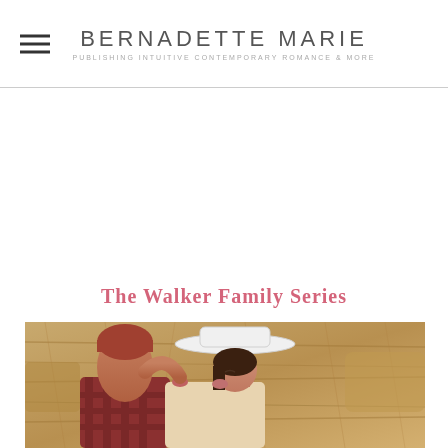BERNADETTE MARIE — PUBLISHING INTUITIVE CONTEMPORARY ROMANCE & MORE
The Walker Family Series
[Figure (photo): A couple kissing in a hay field. The man has short red hair and wears a plaid shirt; the woman wears a white cowboy hat. Background is golden hay bales.]